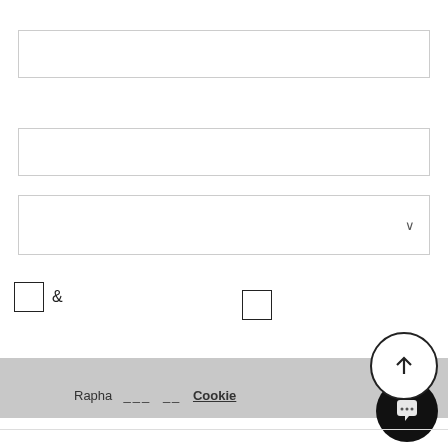[Figure (screenshot): Empty input field box 1]
[Figure (screenshot): Empty input field box 2]
[Figure (screenshot): Dropdown select box with chevron]
[Figure (screenshot): Two checkboxes with ampersand between them]
[Figure (screenshot): Gray footer bar with scroll-to-top circle button containing up arrow]
Rapha ___ __ Cookie
[Figure (screenshot): Black circular chat button with speech bubble icon]